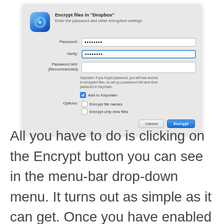[Figure (screenshot): macOS dialog box titled 'Encrypt files in Dropbox' with fields for Password, Verify, Password hint, Add to Keychain checkbox, Options checkboxes for Encrypt file names and Encrypt only new files, and Cancel/Encrypt buttons.]
All you have to do is clicking on the Encrypt button you can see in the menu-bar drop-down menu. It turns out as simple as it can get. Once you have enabled encryption, you will need a password for accessing files or